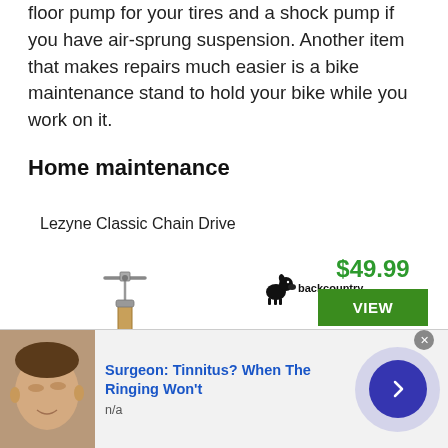floor pump for your tires and a shock pump if you have air-sprung suspension. Another item that makes repairs much easier is a bike maintenance stand to hold your bike while you work on it.
Home maintenance
Lezyne Classic Chain Drive
[Figure (photo): Lezyne Classic Chain Drive tool - a T-handle chain breaker with wooden handle]
[Figure (logo): Backcountry retailer logo with dog icon]
$49.99
VIEW
See all prices
Crankbrothers M17 multi-tool
[Figure (photo): Advertisement banner with photo of person, headline: Surgeon: Tinnitus? When The Ringing Won't, subtext: n/a]